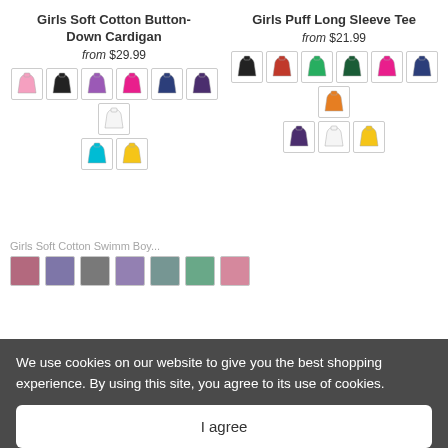Girls Soft Cotton Button-Down Cardigan
from $29.99
[Figure (other): Color swatches for Girls Soft Cotton Button-Down Cardigan: pink, black, purple, hot pink, dark navy, dark purple, white, teal, yellow]
Girls Puff Long Sleeve Tee
from $21.99
[Figure (other): Color swatches for Girls Puff Long Sleeve Tee: black, red, green, dark green, hot pink, navy, orange, dark purple, white, yellow]
We use cookies on our website to give you the best shopping experience. By using this site, you agree to its use of cookies.
I agree